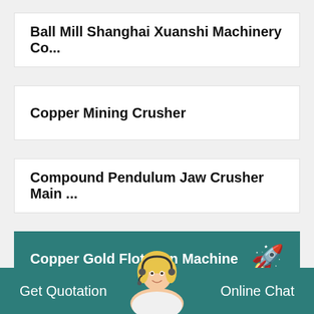Ball Mill Shanghai Xuanshi Machinery Co...
Copper Mining Crusher
Compound Pendulum Jaw Crusher Main ...
Copper Gold Flotation Machine
Hickory North Carolina Mining Gem Rou...
Get Quotation    Online Chat